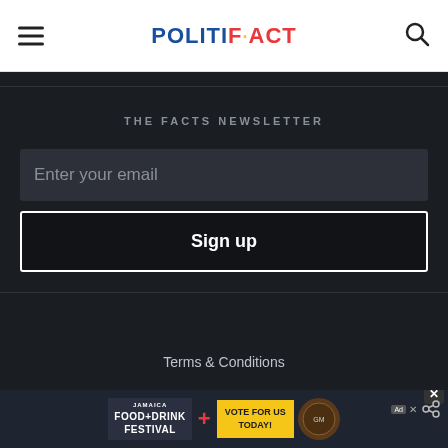POLITIFACT
THE FACTS NEWSLETTER
Enter your email
Sign up
Terms & Conditions
[Figure (screenshot): Jamaica Food+Drink Festival advertisement banner with Vote For Us Today button and logo]